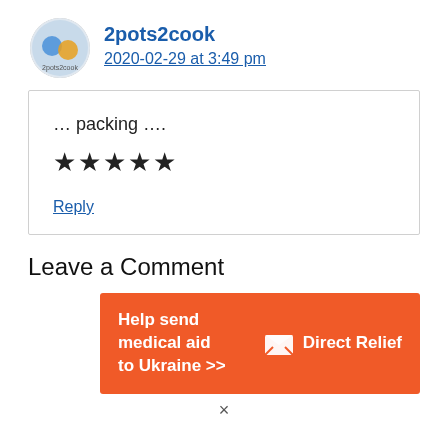2pots2cook
2020-02-29 at 3:49 pm
… packing ….
★★★★★
Reply
Leave a Comment
[Figure (infographic): Orange Direct Relief advertisement banner: 'Help send medical aid to Ukraine >>' with Direct Relief logo on the right]
×